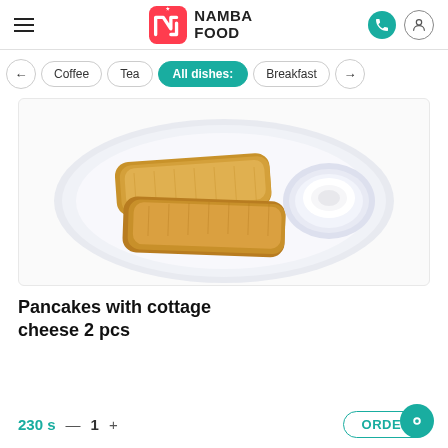NAMBA FOOD
Coffee
Tea
All dishes:
Breakfast
[Figure (photo): Two rolled pancakes with cottage cheese filling on a white oval plate, with a small cup of sour cream on the side]
Pancakes with cottage cheese 2 pcs
230 s  —  1  +  ORDER